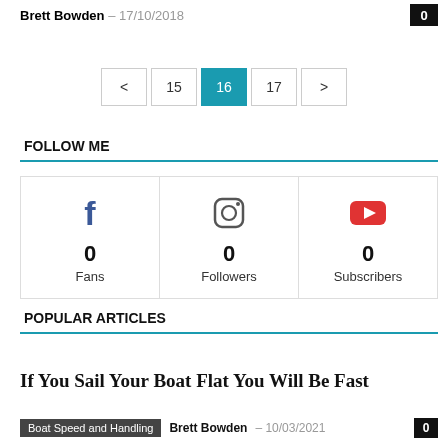Brett Bowden – 17/10/2018
< 15 16 17 >
FOLLOW ME
[Figure (infographic): Three social media follow boxes: Facebook (0 Fans), Instagram (0 Followers), YouTube (0 Subscribers)]
POPULAR ARTICLES
If You Sail Your Boat Flat You Will Be Fast
Boat Speed and Handling  Brett Bowden – 10/03/2021  0